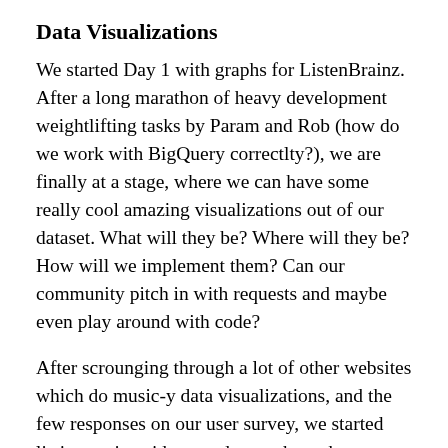Data Visualizations
We started Day 1 with graphs for ListenBrainz. After a long marathon of heavy development weightlifting tasks by Param and Rob (how do we work with BigQuery correctlty?), we are finally at a stage, where we can have some really cool amazing visualizations out of our dataset. What will they be? Where will they be? How will we implement them? Can our community pitch in with requests and maybe even play around with code?
After scrounging through a lot of other websites which do music-y data visualizations, and the few responses on our user survey, we started listing various ideas, and went through ideas on our priority forum. We ended up...